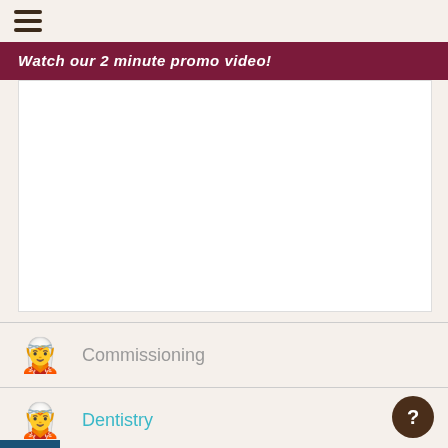[Figure (screenshot): Hamburger menu icon with three horizontal lines]
Watch our 2 minute promo video!
[Figure (screenshot): Video placeholder area (white rectangle)]
Commissioning
Dentistry
Education
Learning Disabilities